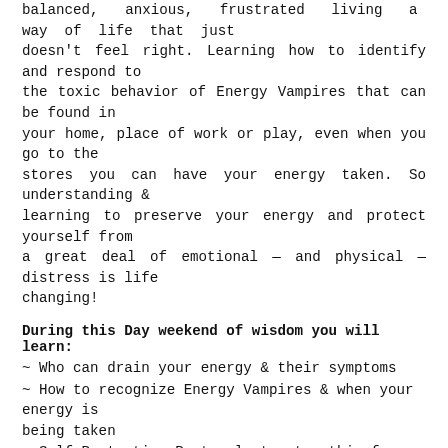balanced, anxious, frustrated living a way of life that just doesn't feel right. Learning how to identify and respond to the toxic behavior of Energy Vampires that can be found in your home, place of work or play, even when you go to the stores you can have your energy taken. So understanding & learning to preserve your energy and protect yourself from a great deal of emotional — and physical — distress is life changing!
During this Day weekend of wisdom you will learn:
~ Who can drain your energy & their symptoms
~ How to recognize Energy Vampires & when your energy is being taken
~ Self Protection Protocols to stop this from happening
~ What Else can drain our energy & how to stop it from happening
~ Grounding Exercises
~ Learning to protect others, your home, car & workspace
~ Crystals for Protection to strengthen your Auric Field